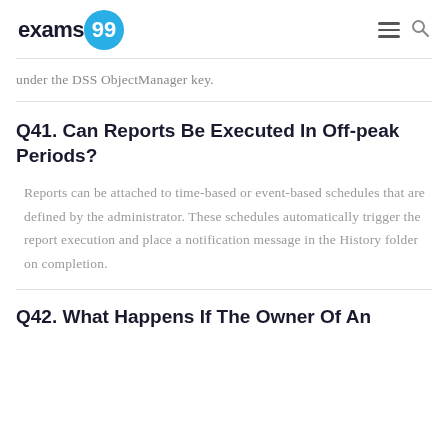exams99
under the DSS ObjectManager key.
Q41. Can Reports Be Executed In Off-peak Periods?
Reports can be attached to time-based or event-based schedules that are defined by the administrator. These schedules automatically trigger the report execution and place a notification message in the History folder on completion.
Q42. What Happens If The Owner Of An